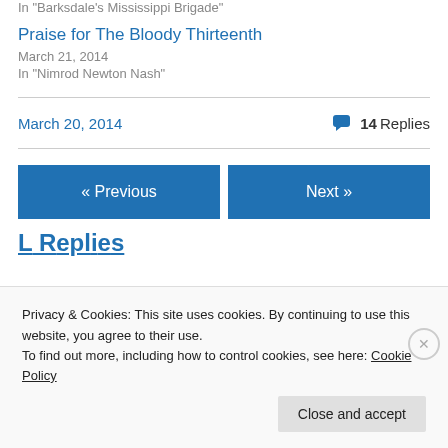In "Barksdale's Mississippi Brigade"
Praise for The Bloody Thirteenth
March 21, 2014
In "Nimrod Newton Nash"
March 20, 2014
14 Replies
« Previous
Next »
Privacy & Cookies: This site uses cookies. By continuing to use this website, you agree to their use.
To find out more, including how to control cookies, see here: Cookie Policy
Close and accept